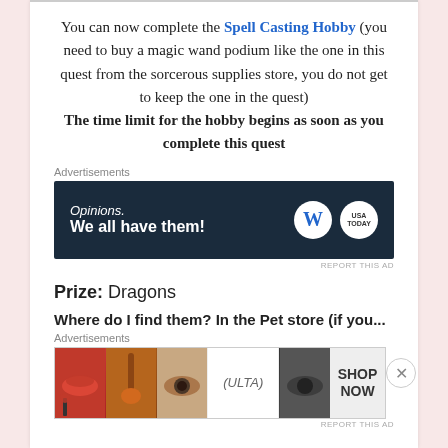You can now complete the Spell Casting Hobby (you need to buy a magic wand podium like the one in this quest from the sorcerous supplies store, you do not get to keep the one in the quest) The time limit for the hobby begins as soon as you complete this quest
[Figure (infographic): Advertisement banner: dark navy background with text 'Opinions. We all have them!' and WordPress and USA Today logos on the right.]
Prize: Dragons
Where do I find them? In the Pet store (if you...
[Figure (infographic): Advertisement banner: Ulta Beauty ad with images of lips, makeup brush, eyes, Ulta logo, and SHOP NOW text.]